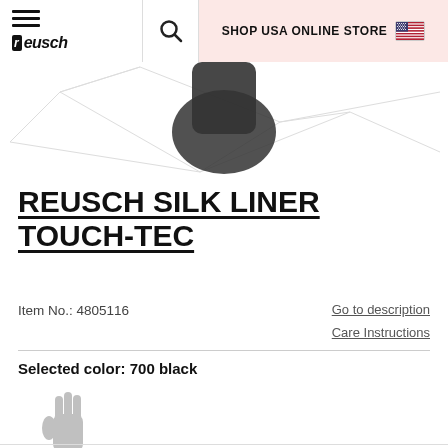SHOP USA ONLINE STORE
[Figure (photo): Reusch glove product image partially visible at top, on geometric line pattern background]
REUSCH SILK LINER TOUCH-TEC
Item No.: 4805116
Go to description
Care Instructions
Selected color: 700 black
[Figure (photo): Small gray glove swatch image for color 700 black]